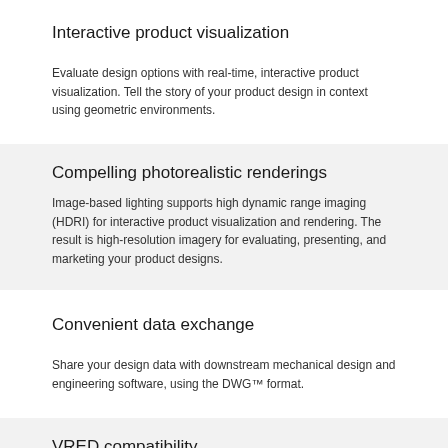Interactive product visualization
Evaluate design options with real-time, interactive product visualization. Tell the story of your product design in context using geometric environments.
Compelling photorealistic renderings
Image-based lighting supports high dynamic range imaging (HDRI) for interactive product visualization and rendering. The result is high-resolution imagery for evaluating, presenting, and marketing your product designs.
Convenient data exchange
Share your design data with downstream mechanical design and engineering software, using the DWG™ format.
VRED compatibility